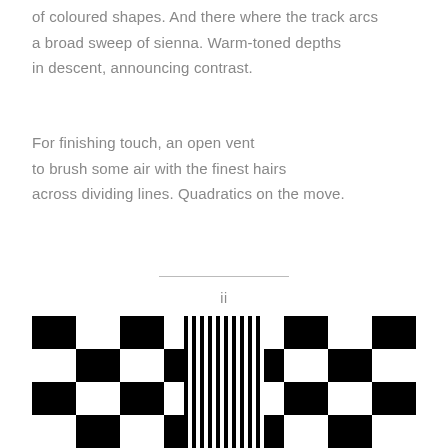of coloured shapes. And there where the track arcs a broad sweep of sienna. Warm-toned depths in descent, announcing contrast.
For finishing touch, an open vent to brush some air with the finest hairs across dividing lines. Quadratics on the move.
ii
[Figure (illustration): Black and white checkerboard pattern that transitions from large squares on the left to narrow vertical stripes in the center, then back to large squares on the right, creating an optical illusion of movement or perspective.]